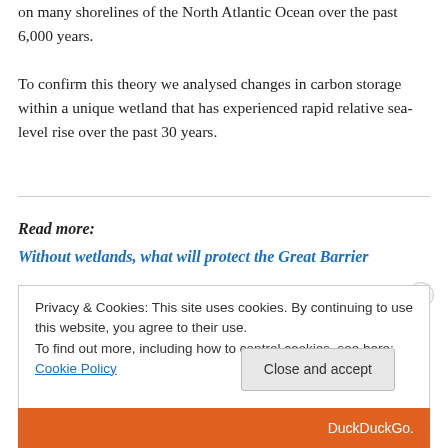on many shorelines of the North Atlantic Ocean over the past 6,000 years.
To confirm this theory we analysed changes in carbon storage within a unique wetland that has experienced rapid relative sea-level rise over the past 30 years.
Read more:
Without wetlands, what will protect the Great Barrier
Privacy & Cookies: This site uses cookies. By continuing to use this website, you agree to their use.
To find out more, including how to control cookies, see here: Cookie Policy
Close and accept